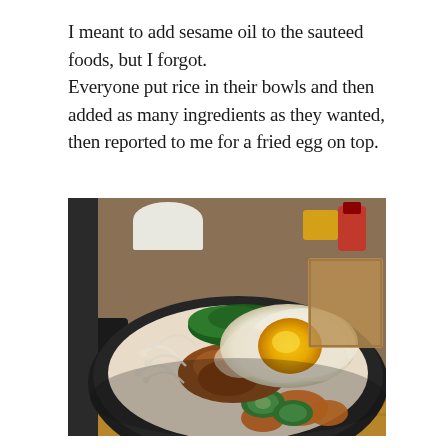I meant to add sesame oil to the sauteed foods, but I forgot. Everyone put rice in their bowls and then added as many ingredients as they wanted, then reported to me for a fried egg on top.
[Figure (photo): Close-up photo of a Korean bibimbap bowl containing rice topped with a fried egg (sunny side up with runny yolk), sauteed meat, spinach, bean sprouts, cucumber slices, orange/carrot pieces, and other vegetables in a dark bowl on a wooden surface.]